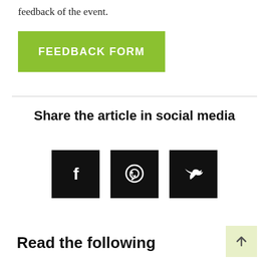feedback of the event.
[Figure (other): Green button labeled FEEDBACK FORM]
Share the article in social media
[Figure (other): Three black square social media icons: Facebook (f), WhatsApp (speech bubble), Twitter (bird)]
Read the following
[Figure (other): Light green scroll-to-top button with upward arrow]